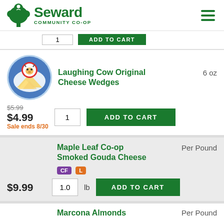Seward Community Co-op
[Figure (screenshot): Partial product card with quantity box and Add to Cart button (cut off at top)]
[Figure (photo): Laughing Cow Original Cheese Wedges product image - circular blue package with laughing cow logo]
Laughing Cow Original Cheese Wedges  6 oz
$5.99  $4.99  Sale ends 8/30
Maple Leaf Co-op Smoked Gouda Cheese  Per Pound  CF  L
$9.99  1.0 lb
Marcona Almonds  Per Pound